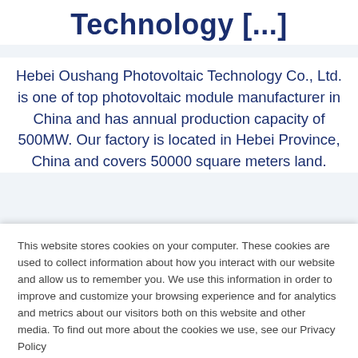Technology [...]
Hebei Oushang Photovoltaic Technology Co., Ltd. is one of top photovoltaic module manufacturer in China and has annual production capacity of 500MW. Our factory is located in Hebei Province, China and covers 50000 square meters land.
This website stores cookies on your computer. These cookies are used to collect information about how you interact with our website and allow us to remember you. We use this information in order to improve and customize your browsing experience and for analytics and metrics about our visitors both on this website and other media. To find out more about the cookies we use, see our Privacy Policy
If you decline, your information won't be tracked when you visit this website. A single cookie will be used in your browser to remember your preference not to be tracked.
Accept
Decline